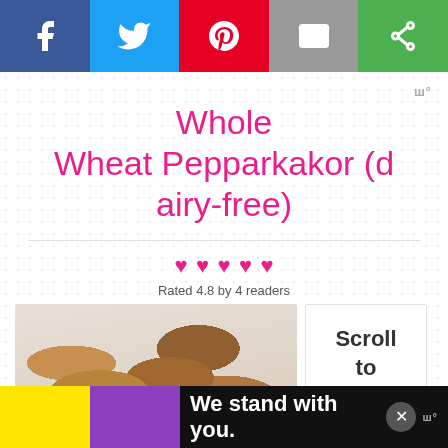[Figure (other): Social sharing bar with Facebook, Twitter, Pinterest, Email, and a green share icon buttons]
Whole Wheat Pepparkakor (dairy-free)
♥♥♥♥♥
Rated 4.8 by 4 readers
[Figure (photo): Photo of whole wheat pepparkakor cookies, round brown cookies]
Scroll to top
[Figure (other): Advertisement banner: We stand with you. on black background with yellow and purple sections]